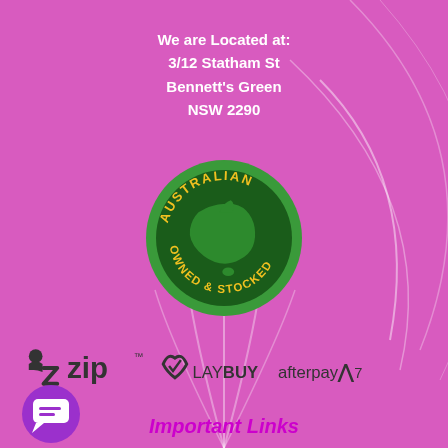We are Located at:
3/12 Statham St
Bennett's Green
NSW 2290
[Figure (logo): Australian Owned & Stocked circular badge with dark green background, Australia map silhouette in lighter green, yellow text reading AUSTRALIAN around top and OWNED & STOCKED around bottom]
[Figure (logo): Payment method logos: Zip, Laybuy, Afterpay displayed on pink background]
[Figure (illustration): Purple chat/message bubble icon]
Important Links